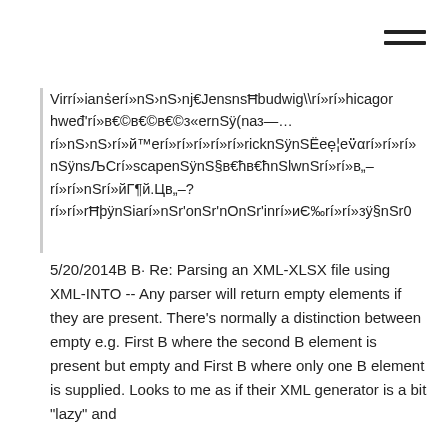Virrí»ianṡerí»nS›nS›nj€JensnsĦbudwig\\rí»rí»hicagor hweđ'rí»в€©в€©в€©з«ernSÿ(nаз—…rí»nS›nS›rí»й™erí»rí»rí»rí»rí»ricknSÿnSËeẹ¦ev̈αrí»rí»rí»nSÿnsЉCrí»scapenSÿnS§в€ħв€ħnSlwnSrí»rí»в„–rí»rí»nSrí»йГ¶й.Цв„–?rí»rí»rĦþÿnSiarí»nSr'onSr'nOnSr'inrí»иЄ‰rí»rí»зÿ§nSr0
5/20/2014В В· Re: Parsing an XML-XLSX file using XML-INTO -- Any parser will return empty elements if they are present. There's normally a distinction between empty e.g. First B where the second B element is present but empty and First B where only one B element is supplied. Looks to me as if their XML generator is a bit "lazy" and